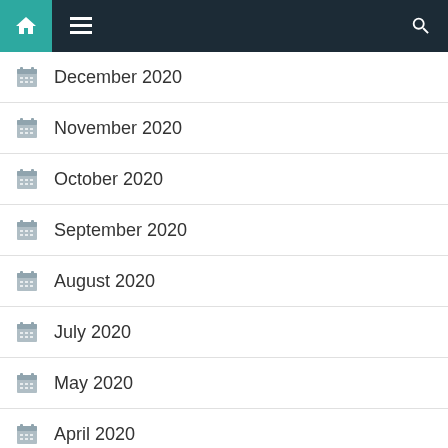Navigation bar with home, menu, and search icons
December 2020
November 2020
October 2020
September 2020
August 2020
July 2020
May 2020
April 2020
March 2020
September 2019